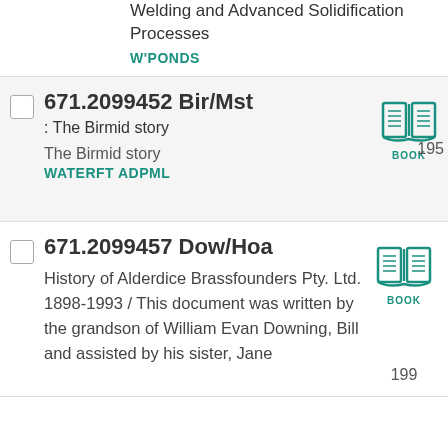Welding and Advanced Solidification Processes
W'PONDS
671.2099452 Bir/Mst : The Birmid story — The Birmid story, WATERFT ADPML, 195
671.2099457 Dow/Hoa — History of Alderdice Brassfounders Pty. Ltd. 1898-1993 / This document was written by the grandson of William Evan Downing, Bill and assisted by his sister, Jane, 199